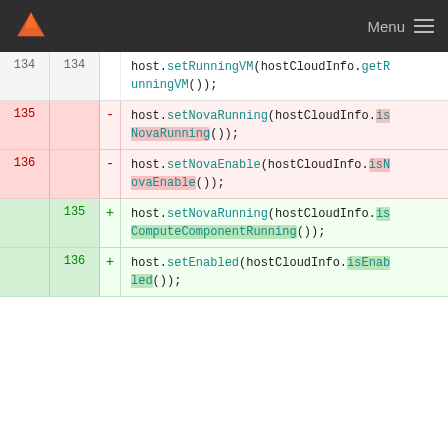[Figure (screenshot): GitLab diff view showing code changes. Line 134 (neutral) shows host.setRunningVM(hostCloudInfo.getRunningVM()); Lines 135 and 136 (deleted, red) show host.setNovaRunning(hostCloudInfo.isNovaRunning()); and host.setNovaEnable(hostCloudInfo.isNovaEnable()); Lines 135 and 136 (added, green) show host.setNovaRunning(hostCloudInfo.isComputeComponentRunning()); and host.setEnabled(hostCloudInfo.isEnabled());]